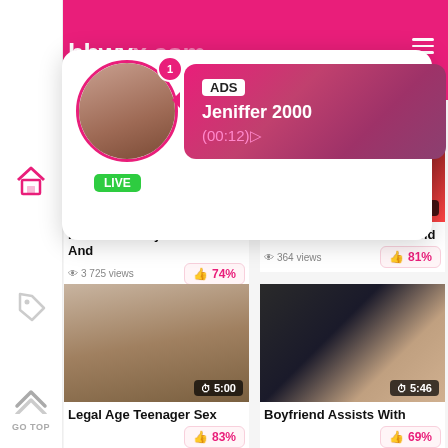bbwy[...]m
[Figure (screenshot): Ad popup overlay showing a live user 'Jeniffer 2000' with timer (00:12)]
[Figure (photo): Video thumbnail - pink/skin tones, duration 10:19]
He Cums In My Bike Pants And
74%   3 725 views
[Figure (photo): Video thumbnail - night street scene with red truck, duration 13:55]
Thailand Sex - Old Man And
81%   364 views
[Figure (photo): Video thumbnail - indoor scene, duration 5:00]
Legal Age Teenager Sex
83%
[Figure (photo): Video thumbnail - group scene, duration 5:46]
Boyfriend Assists With
69%